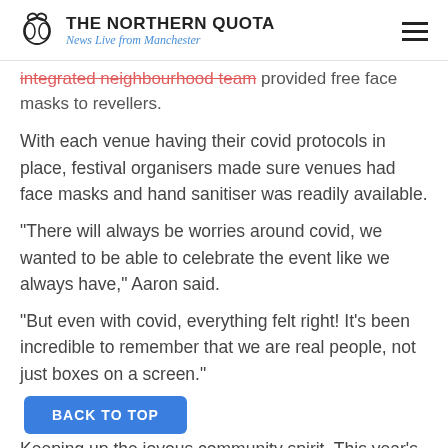THE NORTHERN QUOTA — News Live from Manchester
integrated neighbourhood team provided free face masks to revellers.
With each venue having their covid protocols in place, festival organisers made sure venues had face masks and hand sanitiser was readily available.
“There will always be worries around covid, we wanted to be able to celebrate the event like we always have,” Aaron said.
“But even with covid, everything felt right! It’s been incredible to remember that we are real people, not just boxes on a screen.”
BACK TO TOP
Keeping up the joyous community spirit. This year’s Cheetham Hill’s cultural festival brought residents